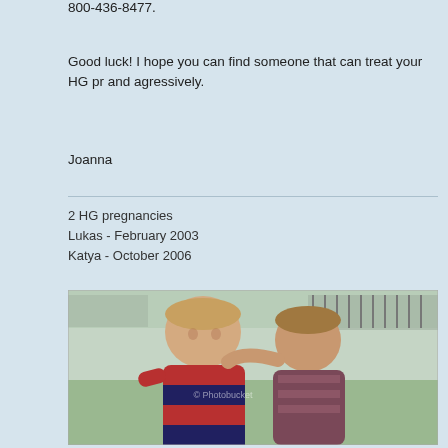800-436-8477.
Good luck! I hope you can find someone that can treat your HG pr and agressively.
Joanna
2 HG pregnancies
Lukas - February 2003
Katya - October 2006
[Figure (photo): Photo of two young children smiling and hugging outdoors near a fence. A boy in a red and navy striped sweater and a girl in a patterned jacket with her arm around his neck.]